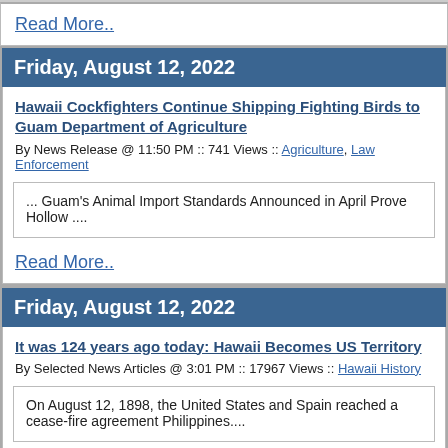Read More..
Friday, August 12, 2022
Hawaii Cockfighters Continue Shipping Fighting Birds to Guam Department of Agriculture
By News Release @ 11:50 PM :: 741 Views :: Agriculture, Law Enforcement
... Guam's Animal Import Standards Announced in April Prove Hollow ....
Read More..
Friday, August 12, 2022
It was 124 years ago today: Hawaii Becomes US Territory
By Selected News Articles @ 3:01 PM :: 17967 Views :: Hawaii History
On August 12, 1898, the United States and Spain reached a cease-fire agreement Philippines....
Read More..